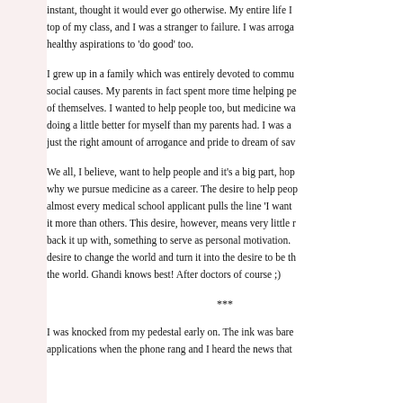instant, thought it would ever go otherwise. My entire life I [was at the] top of my class, and I was a stranger to failure. I was arro[gant, but had] healthy aspirations to 'do good' too.
I grew up in a family which was entirely devoted to commu[nity service and] social causes. My parents in fact spent more time helping pe[ople than taking care] of themselves. I wanted to help people too, but medicine wa[s also a way of] doing a little better for myself than my parents had. I was a[lso blessed with] just the right amount of arrogance and pride to dream of sav[ing the world].
We all, I believe, want to help people and it's a big part, hop[efully, of] why we pursue medicine as a career. The desire to help peop[le is why] almost every medical school applicant pulls the line 'I want [to help people' — some mean] it more than others. This desire, however, means very little [without something to] back it up with, something to serve as personal motivation. [You have to take the] desire to change the world and turn it into the desire to be th[e change in] the world. Ghandi knows best! After doctors of course ;)
***
I was knocked from my pedestal early on. The ink was bare[ly dry on my] applications when the phone rang and I heard the news that [...]